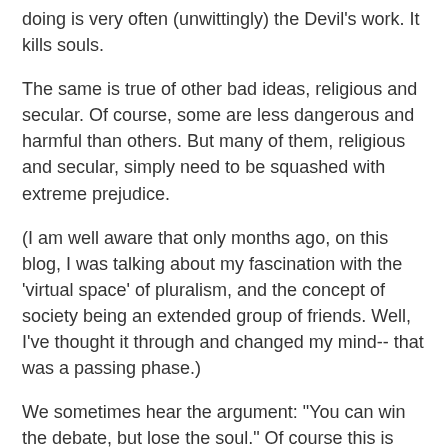doing is very often (unwittingly) the Devil's work. It kills souls.
The same is true of other bad ideas, religious and secular. Of course, some are less dangerous and harmful than others. But many of them, religious and secular, simply need to be squashed with extreme prejudice.
(I am well aware that only months ago, on this blog, I was talking about my fascination with the 'virtual space' of pluralism, and the concept of society being an extended group of friends. Well, I've thought it through and changed my mind-- that was a passing phase.)
We sometimes hear the argument: "You can win the debate, but lose the soul." Of course this is possible, and prudence would recognise where it is a danger.
But in reality, I think this danger is vastly overstated. Most people who enter a debate are already committed to a particular point of view. They are highly unlikely to change it soon no matter how gentle or rough you are.